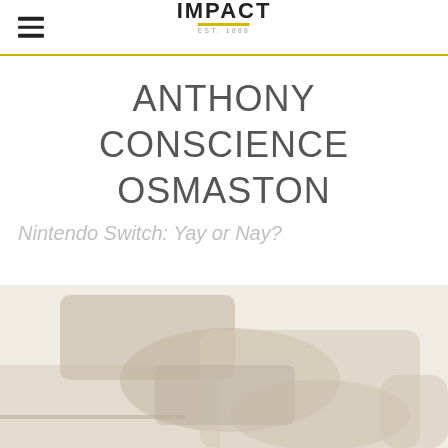IMPACT EST. 1888
ANTHONY CONSCIENCE OSMASTON
Nintendo Switch: Yay or Nay?
[Figure (photo): Faded thumbnail image of a Nintendo Switch gaming device, shown in muted beige and tan tones at the bottom of the page]